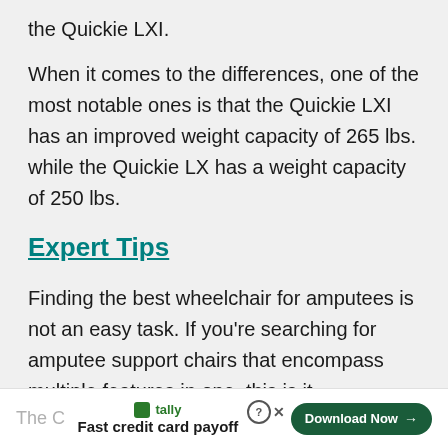the Quickie LXI.
When it comes to the differences, one of the most notable ones is that the Quickie LXI has an improved weight capacity of 265 lbs. while the Quickie LX has a weight capacity of 250 lbs.
Expert Tips
Finding the best wheelchair for amputees is not an easy task. If you're searching for amputee support chairs that encompass multiple features in one, this is it.
The C...